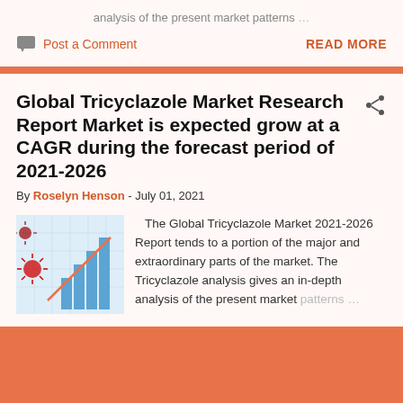analysis of the present market patterns …
Post a Comment
READ MORE
Global Tricyclazole Market Research Report Market is expected grow at a CAGR during the forecast period of 2021-2026
By Roselyn Henson - July 01, 2021
[Figure (illustration): A bar chart illustration with a rising orange line and coronavirus particles on the left side — decorative market report thumbnail image.]
The Global Tricyclazole Market 2021-2026 Report tends to a portion of the major and extraordinary parts of the market. The Tricyclazole analysis gives an in-depth analysis of the present market patterns …